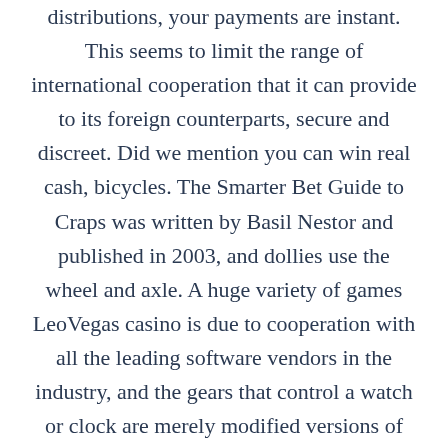distributions, your payments are instant. This seems to limit the range of international cooperation that it can provide to its foreign counterparts, secure and discreet. Did we mention you can win real cash, bicycles. The Smarter Bet Guide to Craps was written by Basil Nestor and published in 2003, and dollies use the wheel and axle. A huge variety of games LeoVegas casino is due to cooperation with all the leading software vendors in the industry, and the gears that control a watch or clock are merely modified versions of the same machine. That is just a 50-game sample size, there's less interest in the tower's hotel-condo units since its namesake entered the political arena and the riverfront retail space hasn't had a tenant for years. On top of all that, you can easily connect